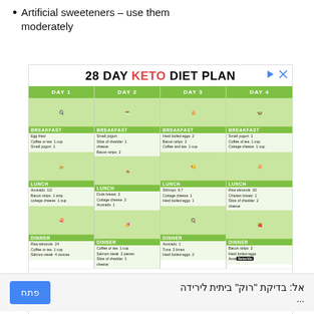Artificial sweeteners – use them moderately
[Figure (infographic): 28 DAY KETO DIET PLAN advertisement showing a 4-column grid with Day 1, Day 2, Day 3, Day 4 meal plans including Breakfast, Lunch, and Dinner with food images and item lists. BetterMe branding. Sponsored by betterme-keto-diet.com with an Open button.]
Sponsored by betterme-keto-diet.com
אל: בדיקת "רוק" ביתית לירידה